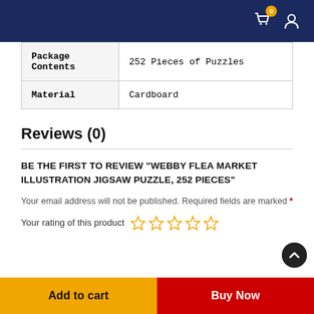Navigation bar with cart (0) and user icons
| Package Contents | Material |
| --- | --- |
| 252 Pieces of Puzzles |
| Cardboard |
Reviews (0)
BE THE FIRST TO REVIEW "WEBBY FLEA MARKET ILLUSTRATION JIGSAW PUZZLE, 252 PIECES"
Your email address will not be published. Required fields are marked *
Your rating of this product
Add to cart | Buy Now